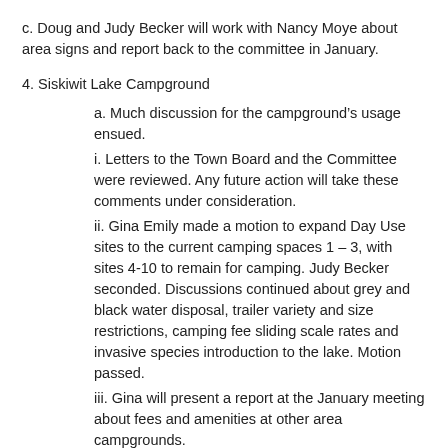c. Doug and Judy Becker will work with Nancy Moye about area signs and report back to the committee in January.
4. Siskiwit Lake Campground
a. Much discussion for the campground’s usage ensued.
i. Letters to the Town Board and the Committee were reviewed. Any future action will take these comments under consideration.
ii. Gina Emily made a motion to expand Day Use sites to the current camping spaces 1 – 3, with sites 4-10 to remain for camping. Judy Becker seconded. Discussions continued about grey and black water disposal, trailer variety and size restrictions, camping fee sliding scale rates and invasive species introduction to the lake. Motion passed.
iii. Gina will present a report at the January meeting about fees and amenities at other area campgrounds.
b. Vault Toilet
i. The Town approved $5000 for its construction. After much discussion, the Committee will pursue permits and design blueprints for its construction.
ii. Once completed, the Portapotties could be moved to